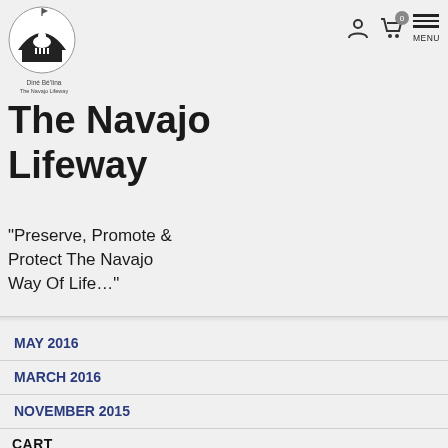[Figure (logo): Dine Be'Iina circular logo with dome/hogan design and sheep, with text below reading Dine Be'Iina / The Navajo Lifeway]
The Navajo Lifeway
"Preserve, Promote & Protect The Navajo Way Of Life..."
MAY 2016
MARCH 2016
NOVEMBER 2015
CART
[Figure (illustration): Support Dine Be Iina Inc donation/support box with orange border]
[Figure (other): reCAPTCHA widget with Privacy and Terms links]